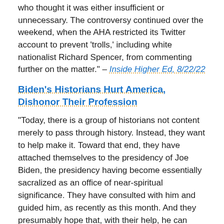who thought it was either insufficient or unnecessary. The controversy continued over the weekend, when the AHA restricted its Twitter account to prevent 'trolls,' including white nationalist Richard Spencer, from commenting further on the matter." – Inside Higher Ed, 8/22/22
Biden's Historians Hurt America, Dishonor Their Profession
"Today, there is a group of historians not content merely to pass through history. Instead, they want to help make it. Toward that end, they have attached themselves to the presidency of Joe Biden, the presidency having become essentially sacralized as an office of near-spiritual significance. They have consulted with him and guided him, as recently as this month. And they presumably hope that, with their help, he can become a world-historical figure. But in this endeavor they have dishonored their profession and even damaged the country." – National